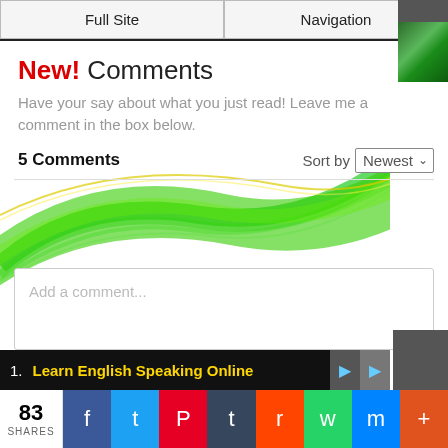Full Site | Navigation
New! Comments
Have your say about what you just read! Leave me a comment in the box below.
5 Comments    Sort by Newest
[Figure (illustration): Decorative green and yellow swoosh/wave design on white background]
Add a comment...
Vicri Harianda
What's the title of this text anyway?
Like · Reply · Mark as spam · 1y
1. Learn English Speaking Online
83 SHARES — Facebook, Twitter, Pinterest, Tumblr, Reddit, WhatsApp, Messenger, More